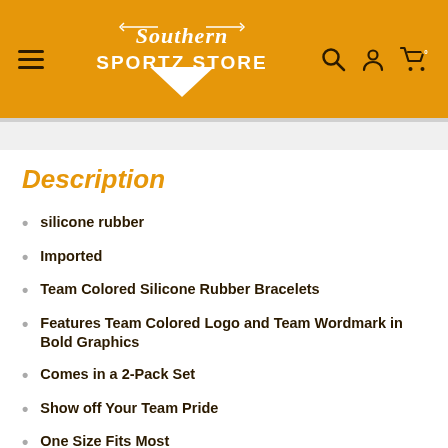[Figure (logo): Southern Sportz Store logo — white script and collegiate lettering on orange background with diamond/chevron shape]
Description
silicone rubber
Imported
Team Colored Silicone Rubber Bracelets
Features Team Colored Logo and Team Wordmark in Bold Graphics
Comes in a 2-Pack Set
Show off Your Team Pride
One Size Fits Most